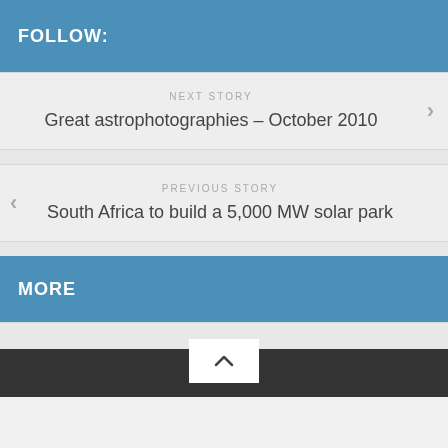FOLLOW:
NEXT STORY
Great astrophotographies – October 2010
PREVIOUS STORY
South Africa to build a 5,000 MW solar park
MORE